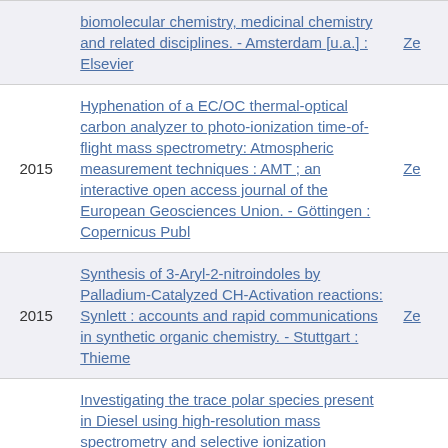| Year | Title/Publication | Ze |
| --- | --- | --- |
|  | biomolecular chemistry, medicinal chemistry and related disciplines. - Amsterdam [u.a.] : Elsevier | Ze |
| 2015 | Hyphenation of a EC/OC thermal-optical carbon analyzer to photo-ionization time-of-flight mass spectrometry: Atmospheric measurement techniques : AMT ; an interactive open access journal of the European Geosciences Union. - Göttingen : Copernicus Publ | Ze |
| 2015 | Synthesis of 3-Aryl-2-nitroindoles by Palladium-Catalyzed CH-Activation reactions: Synlett : accounts and rapid communications in synthetic organic chemistry. - Stuttgart : Thieme | Ze |
| 2015 | Investigating the trace polar species present in Diesel using high-resolution mass spectrometry and selective ionization techniques: Energy & fuels : an American Chemical Society journal. - Washington, DC : ACS | Ze |
| 2015 | Dynamic behaviour of aerosols from semi volatile organic compounds: Gefahrstoffe, Reinhaltung der Luft : air quality control. - Düsseldorf : Springer-VDI-Verl | Ze |